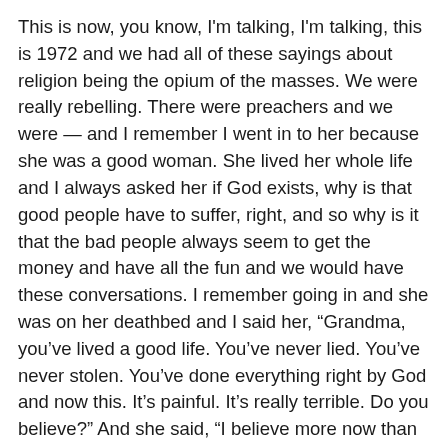This is now, you know, I'm talking, I'm talking, this is 1972 and we had all of these sayings about religion being the opium of the masses. We were really rebelling. There were preachers and we were — and I remember I went in to her because she was a good woman. She lived her whole life and I always asked her if God exists, why is that good people have to suffer, right, and so why is it that the bad people always seem to get the money and have all the fun and we would have these conversations. I remember going in and she was on her deathbed and I said her, “Grandma, you’ve lived a good life. You’ve never lied. You’ve never stolen. You’ve done everything right by God and now this. It’s painful. It’s really terrible. Do you believe?” And she said, “I believe more now than ever.” It never was about believing when things were going great.
And I never understood faith until then. And people sometimes say just don’t you — how is it you always keep this attitude that — but I remember what she told me — faith